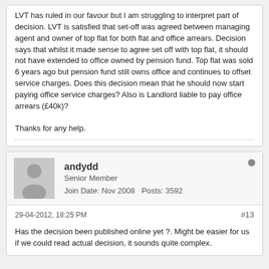LVT has ruled in our favour but I am struggling to interpret part of decision. LVT is satisfied that set-off was agreed between managing agent and owner of top flat for both flat and office arrears. Decision says that whilst it made sense to agree set off with top flat, it should not have extended to office owned by pension fund. Top flat was sold 6 years ago but pension fund still owns office and continues to offset service charges. Does this decision mean that he should now start paying office service charges? Also is Landlord liable to pay office arrears (£40k)?

Thanks for any help.
andydd
Senior Member
Join Date: Nov 2008    Posts: 3592
29-04-2012, 18:25 PM
#13
Has the decision been published online yet ?. Might be easier for us if we could read actual decision, it sounds quite complex.